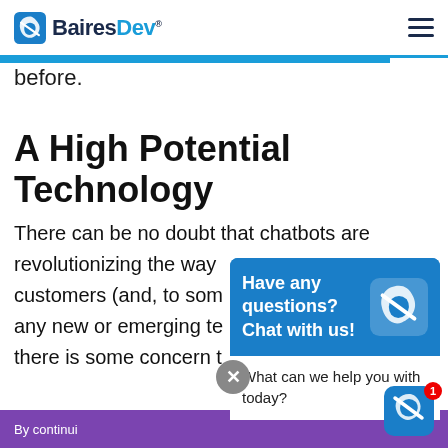BairesDev
before.
A High Potential Technology
There can be no doubt that chatbots are revolutionizing the way customers (and, to some any new or emerging te there is some concern t
[Figure (screenshot): BairesDev chat widget popup showing 'Have any questions? Chat with us!' with logo and 'What can we help you with today?' message box, with a notification badge showing '1']
By continui